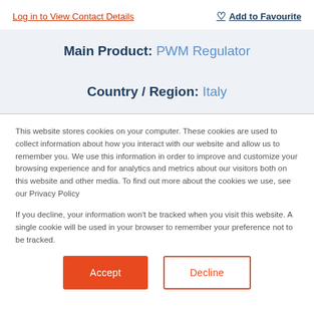Log in to View Contact Details
Add to Favourite
Main Product: PWM Regulator
Country / Region: Italy
This website stores cookies on your computer. These cookies are used to collect information about how you interact with our website and allow us to remember you. We use this information in order to improve and customize your browsing experience and for analytics and metrics about our visitors both on this website and other media. To find out more about the cookies we use, see our Privacy Policy
If you decline, your information won't be tracked when you visit this website. A single cookie will be used in your browser to remember your preference not to be tracked.
Accept
Decline